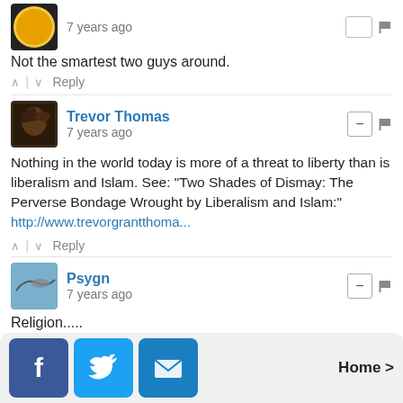7 years ago
Not the smartest two guys around.
^ | v  Reply
Trevor Thomas
7 years ago
Nothing in the world today is more of a threat to liberty than is liberalism and Islam. See: "Two Shades of Dismay: The Perverse Bondage Wrought by Liberalism and Islam:" http://www.trevorgrantthoma...
^ | v  Reply
Psygn
7 years ago
Religion.....
^ | v  Reply
Bài dēng
7 years ago
Home >